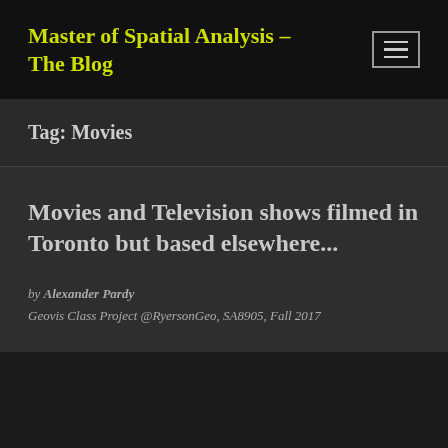Master of Spatial Analysis – The Blog
Tag: Movies
Movies and Television shows filmed in Toronto but based elsewhere...
by Alexander Pardy
Geovis Class Project @RyersonGeo, SA8905, Fall 2017